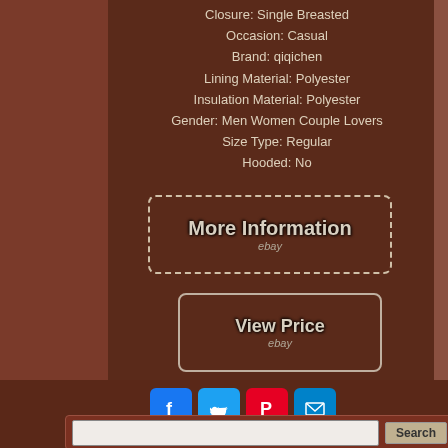Closure: Single Breasted
Occasion: Casual
Brand: qiqichen
Lining Material: Polyester
Insulation Material: Polyester
Gender: Men Women Couple Lovers
Size Type: Regular
Hooded: No
[Figure (screenshot): More Information button with dashed border and eBay logo]
[Figure (screenshot): View Price button with solid border and eBay logo]
[Figure (infographic): Social media icons row: Facebook, Twitter, Pinterest, Email]
Search